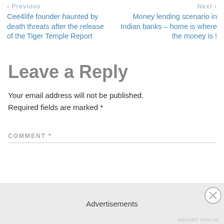< Previous | Next >
Cee4life founder haunted by death threats after the release of the Tiger Temple Report
Money lending scenario in Indian banks – home is where the money is !
Leave a Reply
Your email address will not be published. Required fields are marked *
COMMENT *
Advertisements